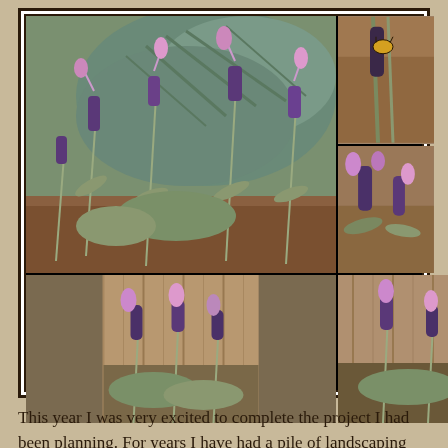[Figure (photo): A collage of six lavender plant photos. Top-left large photo: purple lavender flowers blooming in front of a blue spruce tree. Top-right upper photo: close-up of a bee on a dark lavender spike. Top-right lower photo: close-up of purple lavender flowers with a bee, brown gravel background. Bottom-left photo: lavender plants with purple blooms against a wooden fence. Bottom-center photo: lavender plants in front of a wooden fence. Bottom-right panel: a wooden fence background with the word 'Lavender' written in purple/pink cursive text.]
This year I was very excited to complete the project I had been planning. For years I have had a pile of landscaping stones that we had been given for free, I had ideas of how I